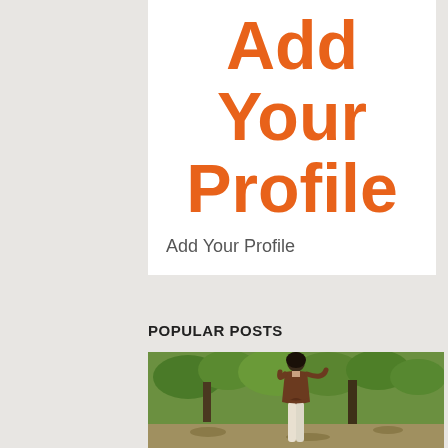Add Your Profile
Add Your Profile
POPULAR POSTS
[Figure (photo): A woman with dark hair wearing a brown wrap top and white pants, standing outdoors with green trees and foliage in the background.]